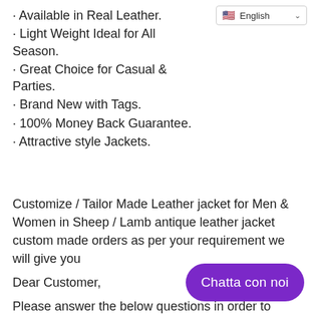[Figure (screenshot): Language selector dropdown showing English with US flag]
· Available in Real Leather.
· Light Weight Ideal for All Season.
· Great Choice for Casual  &  Parties.
· Brand New with Tags.
· 100% Money Back Guarantee.
· Attractive style Jackets.
Customize / Tailor Made Leather jacket for Men  &  Women in Sheep / Lamb antique leather jacket custom made orders as per your requirement we will give you
Dear Customer,
Please answer the below questions in order to serve you